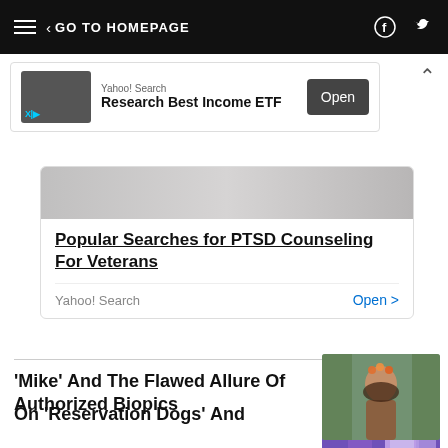GO TO HOMEPAGE
[Figure (other): Advertisement banner: Yahoo! Search - Research Best Income ETF with Open button]
[Figure (other): Advertisement card: Popular Searches for PTSD Counseling For Veterans - Yahoo! Search with Open link]
'Mike' And The Flawed Allure Of Authorized Biopics
[Figure (photo): Purple-tinted photo of people including a person in a white jacket]
On 'Reservation Dogs' And